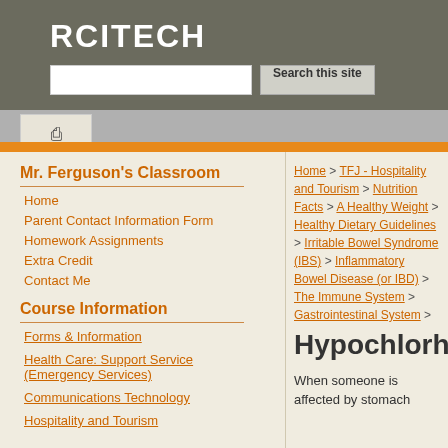RCITECH
Mr. Ferguson's Classroom
Home
Parent Contact Information Form
Homework Assignments
Extra Credit
Contact Me
Course Information
Forms & Information
Health Care: Support Service (Emergency Services)
Communications Technology
Hospitality and Tourism
Home > TFJ - Hospitality and Tourism > Nutrition Facts > A Healthy Weight > Healthy Dietary Guidelines > Irritable Bowel Syndrome (IBS) > Inflammatory Bowel Disease (or IBD) > The Immune System > Gastrointestinal System >
Hypochlorhyria
When someone is affected by stomach